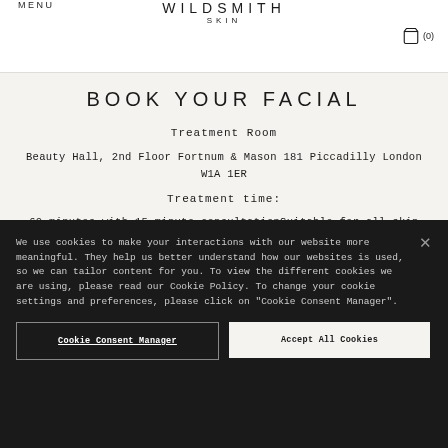MENU  WILDSMITH SKIN  (0)
BOOK YOUR FACIAL
Treatment Room
Beauty Hall, 2nd Floor Fortnum & Mason 181 Piccadilly London W1A 1ER
Treatment time:
60 minutes with 15-minute consultationSuitable for all skin
We use cookies to make your interactions with our website more meaningful. They help us better understand how our websites is used, so we can tailor content for you. To view the different cookies we are using, please read our Cookie Policy. To change your cookie settings and preferences, please click on "Cookie Consent Manager".
Cookie Consent Manager
Accept All Cookies